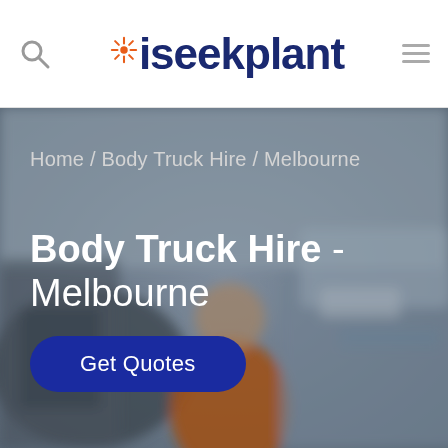iseekplant
Home / Body Truck Hire / Melbourne
Body Truck Hire - Melbourne
Get Quotes
[Figure (photo): Blurred background photo of a truck/plant equipment scene with an orange-vested worker visible]